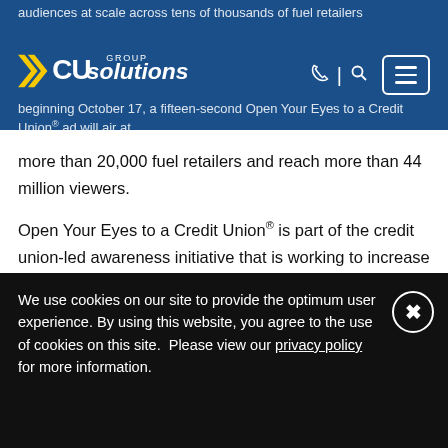audiences at scale across tens of thousands of fuel retailers beginning October 17, a fifteen-second Open Your Eyes to a Credit Union® ad will air at
[Figure (logo): CU Solutions Group logo with yellow double-chevron and white text on blue background]
more than 20,000 fuel retailers and reach more than 44 million viewers.
Open Your Eyes to a Credit Union® is part of the credit union-led awareness initiative that is working to increase consumer consideration of credit unions. The campaign first launched in January and is now live in Arizona, Indiana, Kansas, Michigan, Minnesota, Missouri, Nebraska, North Carolina, North Dakota, South Carolina, South Dakota
We use cookies on our site to provide the optimum user experience. By using this website, you agree to the use of cookies on this site.  Please view our privacy policy for more information.